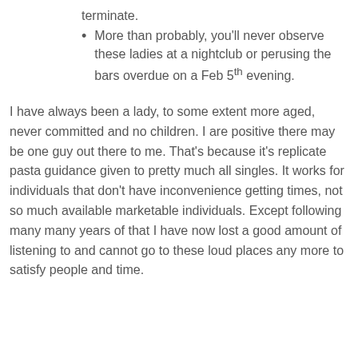terminate.
More than probably, you'll never observe these ladies at a nightclub or perusing the bars overdue on a Feb 5th evening.
I have always been a lady, to some extent more aged, never committed and no children. I are positive there may be one guy out there to me. That's because it's replicate pasta guidance given to pretty much all singles. It works for individuals that don't have inconvenience getting times, not so much available marketable individuals. Except following many many years of that I have now lost a good amount of listening to and cannot go to these loud places any more to satisfy people and time.